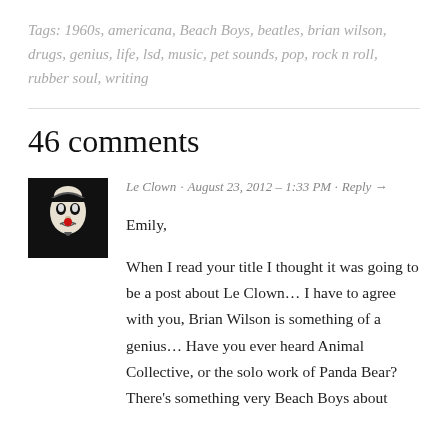Tags: 1960s, americana, Beach Boys, beatles, brian wilson, drugs, genius, life, lsd, music, pet sounds, pop, rock n roll, rubber soul, writing
46 comments
Le Clown · August 23, 2012 – 1:33 PM · Reply →
Emily,
When I read your title I thought it was going to be a post about Le Clown… I have to agree with you, Brian Wilson is something of a genius… Have you ever heard Animal Collective, or the solo work of Panda Bear? There's something very Beach Boys about